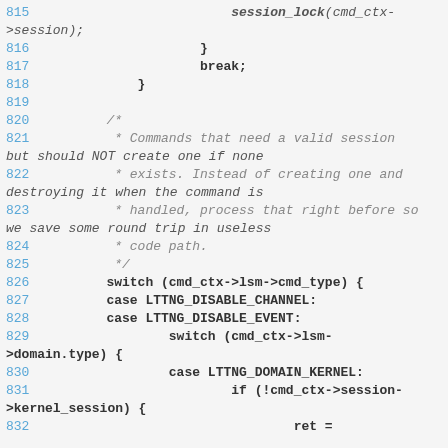[Figure (screenshot): Source code listing showing lines 815-832 of a C program involving session locking, switch statements, and LTTng tracing commands including LTTNG_DISABLE_CHANNEL, LTTNG_DISABLE_EVENT, and LTTNG_DOMAIN_KERNEL cases.]